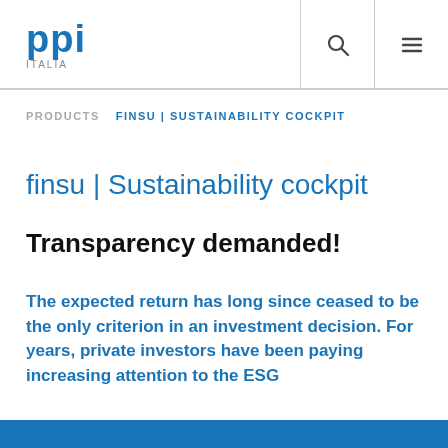ppi ITALIA
PRODUCTS  FINSU | SUSTAINABILITY COCKPIT
finsu | Sustainability cockpit
Transparency demanded!
The expected return has long since ceased to be the only criterion in an investment decision. For years, private investors have been paying increasing attention to the ESG